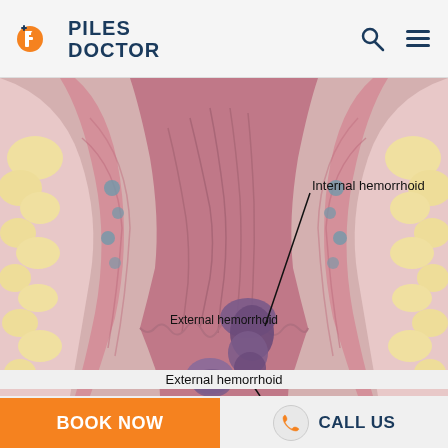[Figure (logo): Piles Doctor logo with stylized P icon in orange and blue, text PILES DOCTOR in dark blue]
[Figure (illustration): Medical anatomical cross-section illustration showing internal and external hemorrhoids. Labels point to 'Internal hemorrhoid' (purple prolapsed tissue inside anal canal) and 'External hemorrhoid' (purple rounded swelling at exterior). Pink and cream tissue layers visible on sides.]
Internal hemorrhoid
External hemorrhoid
BOOK NOW
CALL US